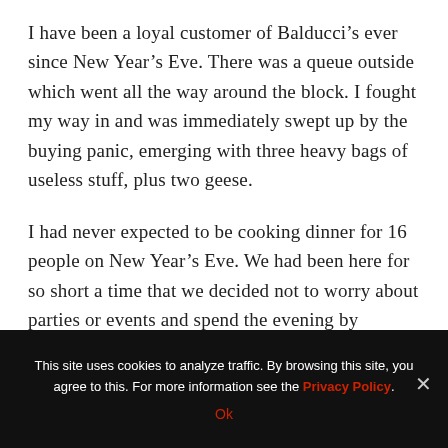I have been a loyal customer of Balducci's ever since New Year's Eve. There was a queue outside which went all the way around the block. I fought my way in and was immediately swept up by the buying panic, emerging with three heavy bags of useless stuff, plus two geese.
I had never expected to be cooking dinner for 16 people on New Year's Eve. We had been here for so short a time that we decided not to worry about parties or events and spend the evening by ourselves, cooking our favourite dishes. But about four days before the 31st the phone began to ring. It was friends whose plans had changed, or who had lost their baby-
This site uses cookies to analyze traffic. By browsing this site, you agree to this. For more information see the Privacy Policy.
Ok